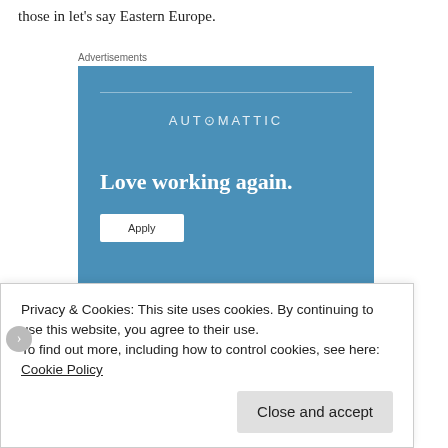those in let's say Eastern Europe.
Advertisements
[Figure (other): Automattic advertisement banner with blue background. Shows 'AUTOMATTIC' logo at top, tagline 'Love working again.' and an 'Apply' button.]
Privacy & Cookies: This site uses cookies. By continuing to use this website, you agree to their use.
To find out more, including how to control cookies, see here: Cookie Policy